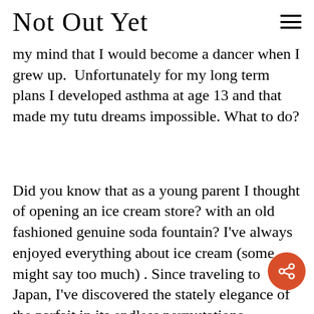Not Out Yet
my mind that I would become a dancer when I grew up.  Unfortunately for my long term plans I developed asthma at age 13 and that made my tutu dreams impossible. What to do?
Did you know that as a young parent I thought of opening an ice cream store? with an old fashioned genuine soda fountain? I've always enjoyed everything about ice cream (some might say too much) . Since traveling to Japan, I've discovered the stately elegance of the parfait in its endless permutations.